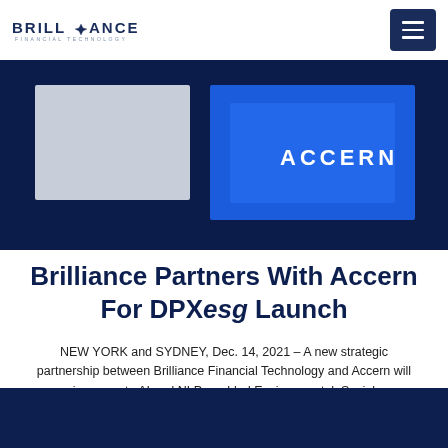BRILLIANCE FINANCIAL TECHNOLOGY
[Figure (photo): Dark navy background with 'ACCERN' text in white on a blue panel, and a light grey rectangular element to the left, suggesting a branded hero image for Accern.]
Brilliance Partners With Accern For DPXesg Launch
NEW YORK and SYDNEY, Dec. 14, 2021 – A new strategic partnership between Brilliance Financial Technology and Accern will incorporate AI and NLP-enabled Environmental, Social